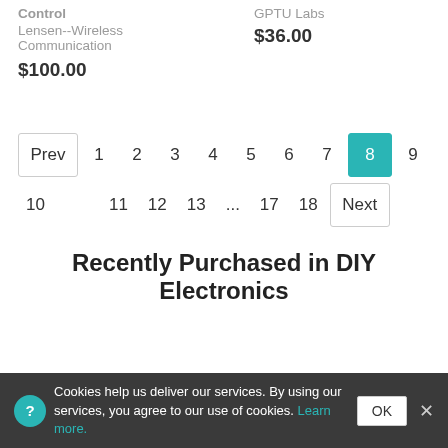Control
Lensen--Wireless Communication
$100.00
GPTU Labs
$36.00
Prev 1 2 3 4 5 6 7 8 9 10 11 12 13 ... 17 18 Next
Recently Purchased in DIY Electronics
Cookies help us deliver our services. By using our services, you agree to our use of cookies. Learn more.